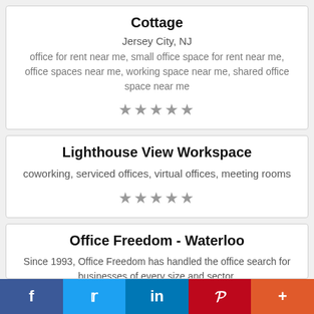Cottage
Jersey City, NJ
office for rent near me, small office space for rent near me, office spaces near me, working space near me, shared office space near me
★★★★★
Lighthouse View Workspace
coworking, serviced offices, virtual offices, meeting rooms
★★★★★
Office Freedom - Waterloo
Since 1993, Office Freedom has handled the office search for businesses of every size and sector.